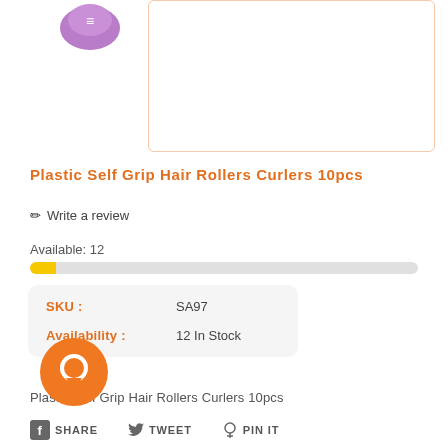[Figure (photo): Purple hair roller product image (partial, top cropped) on the left side]
[Figure (other): Empty orange-bordered rectangular box (product image placeholder area)]
Plastic Self Grip Hair Rollers Curlers 10pcs
✏ Write a review
Available: 12
[Figure (other): Yellow and gray progress/stock indicator bar]
| Field | Value |
| --- | --- |
| SKU : | SA97 |
| Availability : | 12 In Stock |
Plastic Self Grip Hair Rollers Curlers 10pcs
[Figure (other): Orange circular chat/messenger button overlay]
📘 SHARE  🐦 TWEET  📌 PIN IT